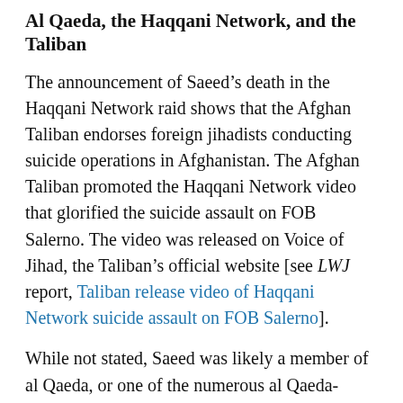Al Qaeda, the Haqqani Network, and the Taliban
The announcement of Saeed’s death in the Haqqani Network raid shows that the Afghan Taliban endorses foreign jihadists conducting suicide operations in Afghanistan. The Afghan Taliban promoted the Haqqani Network video that glorified the suicide assault on FOB Salerno. The video was released on Voice of Jihad, the Taliban’s official website [see LWJ report, Taliban release video of Haqqani Network suicide assault on FOB Salerno].
While not stated, Saeed was likely a member of al Qaeda, or one of the numerous al Qaeda-linked foreign jihadist groups operating along the Afghanistan-Pakistan border. In addition to al Qaeda, a host of foreign terror groups cooperate with the Haqqani Network in eastern Afghanistan and shelter in Haqqani areas in North Waziristan, Pakistan. Those groups include the Islamic Movement of Uzbekistan and its offshoot, the Islamic Jihad Union; the Caucasus Mujahideen in Khorasan; Taifatul Mansura (Victorious Sect); Jund al Khilafah (Soldiers of the